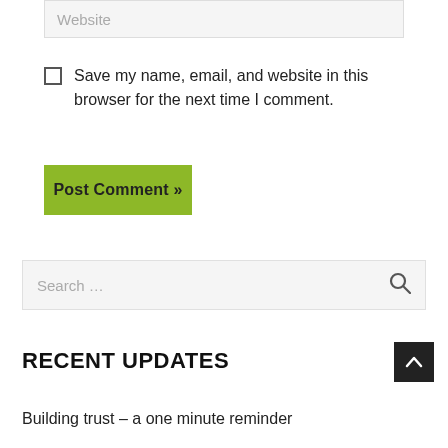Website
Save my name, email, and website in this browser for the next time I comment.
Post Comment »
Search …
RECENT UPDATES
Building trust – a one minute reminder